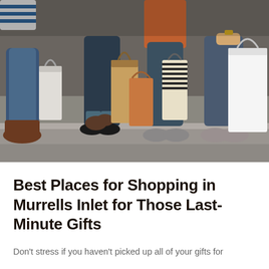[Figure (photo): Photo of people sitting together holding shopping bags of various colors and styles, viewed from waist down showing their legs, shoes, and shopping bags]
Best Places for Shopping in Murrells Inlet for Those Last-Minute Gifts
Don't stress if you haven't picked up all of your gifts for